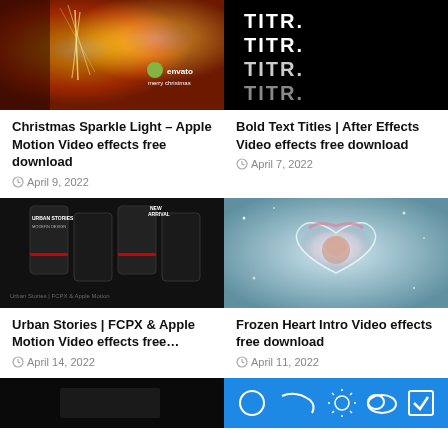[Figure (photo): Christmas sparkle light effect with warm orange/red tones and envato logo, merry christmas text]
Christmas Sparkle Light – Apple Motion Video effects free download
April 9, 2022
[Figure (photo): Bold text titles on black background showing TITR repeated four times in white bold text]
Bold Text Titles | After Effects Video effects free download
April 7, 2022
[Figure (photo): Urban Stories modern design showing mobile phone screens with dark theme and red accents]
Urban Stories | FCPX & Apple Motion Video effects free…
April 14, 2022
[Figure (photo): Frozen heart intro video with icy heart shape containing a woman's face surrounded by snow/ice]
Frozen Heart Intro Video effects free download
April 11, 2022
[Figure (photo): Dark background partial image at bottom left]
[Figure (photo): Blue background with weather/UI icons at bottom right]